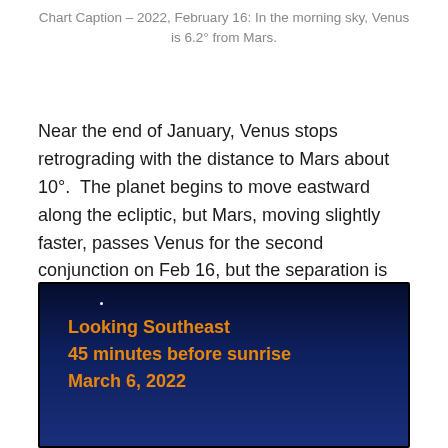Chart Caption – 2022, February 16: In the morning sky, Venus is 6.2° from Mars.
Near the end of January, Venus stops retrograding with the distance to Mars about 10°.  The planet begins to move eastward along the ecliptic, but Mars, moving slightly faster, passes Venus for the second conjunction on Feb 16, but the separation is 6.2°.
[Figure (photo): Night sky image looking southeast, 45 minutes before sunrise on March 6, 2022. Dark blue sky with annotation text in orange: 'Looking Southeast / 45 minutes before sunrise / March 6, 2022']